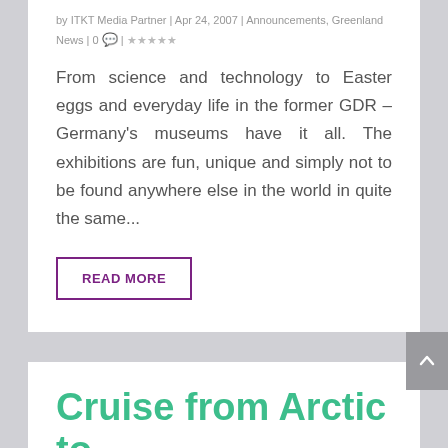by ITKT Media Partner | Apr 24, 2007 | Announcements, Greenland News | 0 💬 | ★☆☆☆☆
From science and technology to Easter eggs and everyday life in the former GDR – Germany's museums have it all. The exhibitions are fun, unique and simply not to be found anywhere else in the world in quite the same...
READ MORE
Cruise from Arctic to Antarctica
by Devin Galaudet | Jan 18, 2007 | Announcements, Belize News,